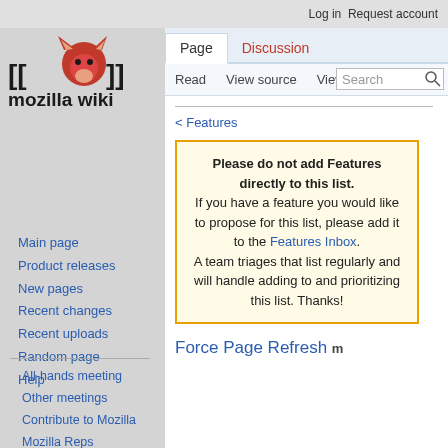Log in   Request account
[Figure (logo): Mozilla Wiki logo with red lion head and brackets [[  ]], text 'mozilla wiki']
Page  Discussion  Read  View source  View history  Search
Main page
Product releases
New pages
Recent changes
Recent uploads
Random page
Help
All-hands meeting
Other meetings
Contribute to Mozilla
Mozilla Reps
Community Portal
< Features
Please do not add Features directly to this list. If you have a feature you would like to propose for this list, please add it to the Features Inbox. A team triages that list regularly and will handle adding to and prioritizing this list. Thanks!
Force Page Refresh m